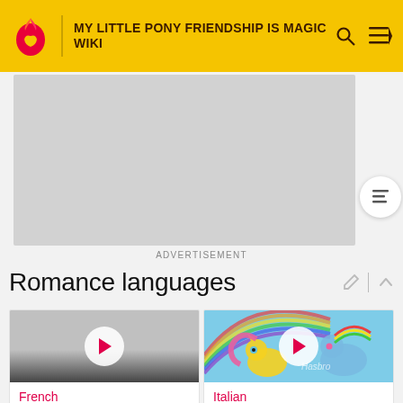MY LITTLE PONY FRIENDSHIP IS MAGIC WIKI
[Figure (other): Advertisement placeholder gray rectangle]
ADVERTISEMENT
Romance languages
[Figure (other): French video card with play button]
French
[Figure (other): Italian video card with MLP artwork and play button, Hasbro logo visible]
Italian
[Figure (other): Bottom-left video card thumbnail, partially visible]
[Figure (other): Bottom-right video card thumbnail, partially visible]